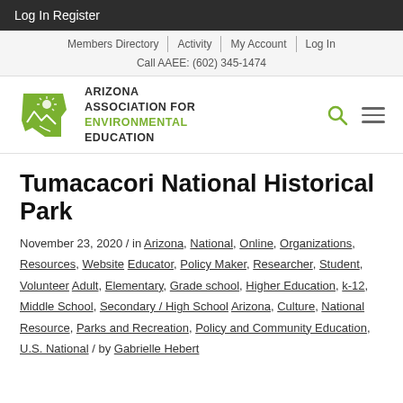Log In  Register
Members Directory | Activity | My Account | Log In
Call AAEE: (602) 345-1474
[Figure (logo): Arizona Association for Environmental Education logo — green Arizona state silhouette with sun and mountains]
Tumacacori National Historical Park
November 23, 2020 / in Arizona, National, Online, Organizations, Resources, Website Educator, Policy Maker, Researcher, Student, Volunteer Adult, Elementary, Grade school, Higher Education, k-12, Middle School, Secondary / High School Arizona, Culture, National Resource, Parks and Recreation, Policy and Community Education, U.S. National / by Gabrielle Hebert